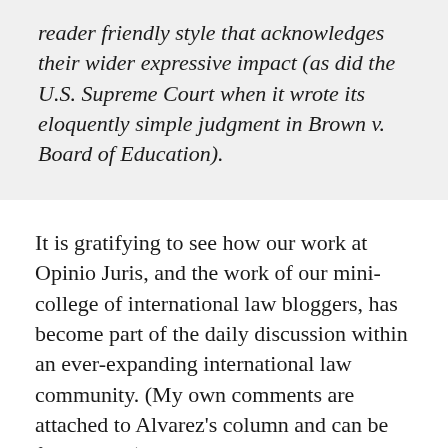reader friendly style that acknowledges their wider expressive impact (as did the U.S. Supreme Court when it wrote its eloquently simple judgment in Brown v. Board of Education).
It is gratifying to see how our work at Opinio Juris, and the work of our mini-college of international law bloggers, has become part of the daily discussion within an ever-expanding international law community. (My own comments are attached to Alvarez's column and can be found here.)